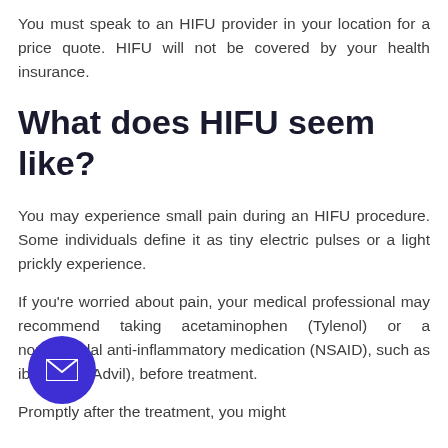You must speak to an HIFU provider in your location for a price quote. HIFU will not be covered by your health insurance.
What does HIFU seem like?
You may experience small pain during an HIFU procedure. Some individuals define it as tiny electric pulses or a light prickly experience.
If you're worried about pain, your medical professional may recommend taking acetaminophen (Tylenol) or a nonsteroidal anti-inflammatory medication (NSAID), such as ibuprofen (Advil), before treatment.
Promptly after the treatment, you might experience mild redness, some swelling, which will...